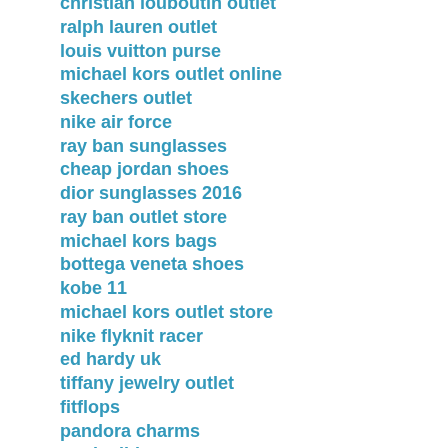christian louboutin outlet
ralph lauren outlet
louis vuitton purse
michael kors outlet online
skechers outlet
nike air force
ray ban sunglasses
cheap jordan shoes
dior sunglasses 2016
ray ban outlet store
michael kors bags
bottega veneta shoes
kobe 11
michael kors outlet store
nike flyknit racer
ed hardy uk
tiffany jewelry outlet
fitflops
pandora charms
nmd adidas
adidas gazelle
tory burch outlet online
oakley sunglasses cheap